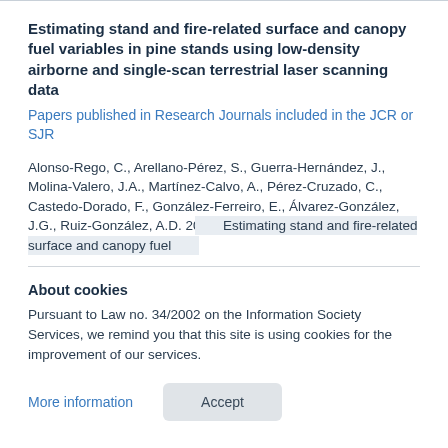Estimating stand and fire-related surface and canopy fuel variables in pine stands using low-density airborne and single-scan terrestrial laser scanning data
Papers published in Research Journals included in the JCR or SJR
Alonso-Rego, C., Arellano-Pérez, S., Guerra-Hernández, J., Molina-Valero, J.A., Martínez-Calvo, A., Pérez-Cruzado, C., Castedo-Dorado, F., González-Ferreiro, E., Álvarez-González, J.G., Ruiz-González, A.D. 2021. Estimating stand and fire-related surface and canopy fuel
About cookies
Pursuant to Law no. 34/2002 on the Information Society Services, we remind you that this site is using cookies for the improvement of our services.
More information   Accept